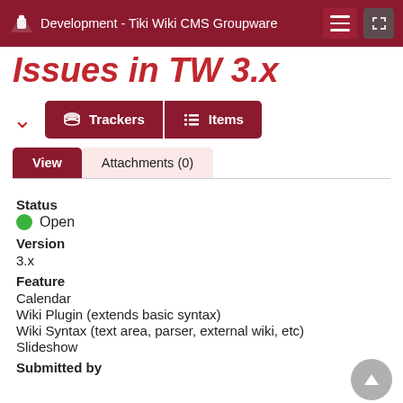Development - Tiki Wiki CMS Groupware
Issues in TW 3.x
Trackers  Items
View  Attachments (0)
Status
Open
Version
3.x
Feature
Calendar
Wiki Plugin (extends basic syntax)
Wiki Syntax (text area, parser, external wiki, etc)
Slideshow
Submitted by